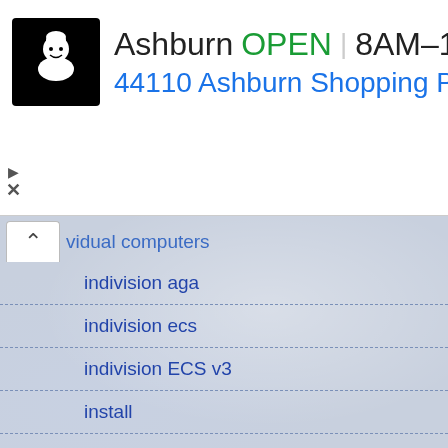[Figure (screenshot): Ad banner for a grocery store in Ashburn showing logo, OPEN status, hours 8AM-10PM, address 44110 Ashburn Shopping Pl..., and navigation icon]
vidual computers
indivision aga
indivision ecs
indivision ECS v3
install
installation
installer
intellivision
intellivision II
intellivoice
interlace
internet
interview
intybasic
inviyya